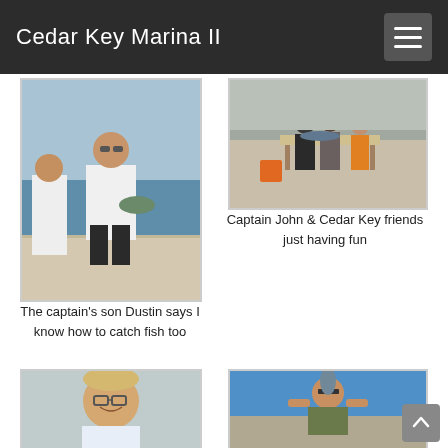Cedar Key Marina II
[Figure (photo): A young man in a white t-shirt and sunglasses holding a fish on a boat deck, with ocean in background]
The captain's son Dustin says I know how to catch fish too
[Figure (photo): Group of people including Captain John standing around a table on a dock, cleaning fish]
Captain John & Cedar Key friends just having fun
[Figure (photo): Young boy with glasses and blonde hair smiling on a boat]
[Figure (photo): Man in sunglasses holding up a large fish on a boat with blue ocean background]